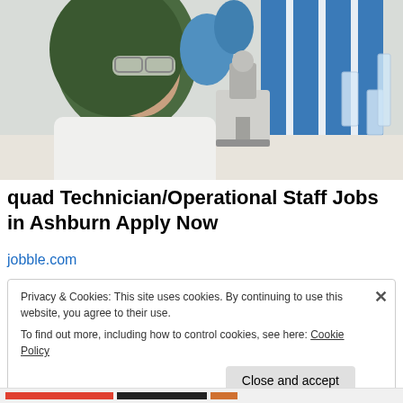[Figure (photo): A woman wearing a green hijab and white lab coat with safety glasses, handling laboratory equipment including a microscope in a laboratory setting with blue vertical panels in the background.]
quad Technician/Operational Staff Jobs in Ashburn Apply Now
jobble.com
Privacy & Cookies: This site uses cookies. By continuing to use this website, you agree to their use.
To find out more, including how to control cookies, see here: Cookie Policy
Close and accept